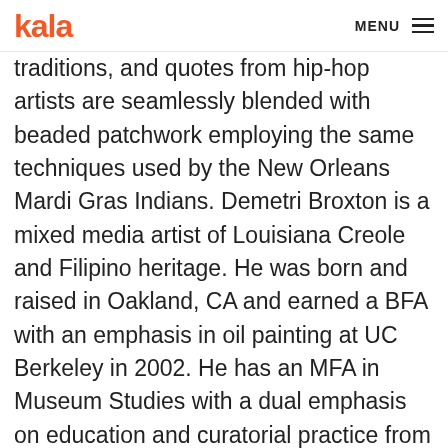kala | MENU
traditions, and quotes from hip-hop artists are seamlessly blended with beaded patchwork employing the same techniques used by the New Orleans Mardi Gras Indians. Demetri Broxton is a mixed media artist of Louisiana Creole and Filipino heritage. He was born and raised in Oakland, CA and earned a BFA with an emphasis in oil painting at UC Berkeley in 2002. He has an MFA in Museum Studies with a dual emphasis on education and curatorial practice from San Francisco State University. Demetri is influenced by craft and folk traditions and is passionate about infusing these traditions into fine art. He is represented by Patricia Sweetow Gallery.